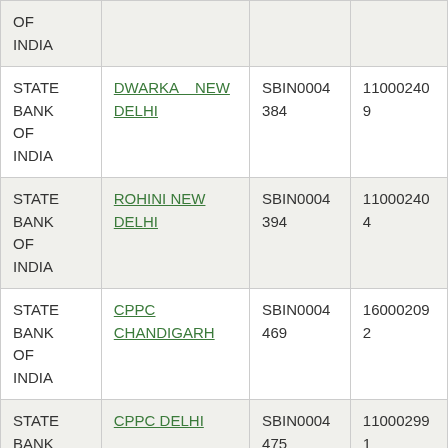| Bank | Branch | IFSC | MICR |
| --- | --- | --- | --- |
| STATE BANK OF INDIA |  |  |  |
| STATE BANK OF INDIA | DWARKA NEW DELHI | SBIN0004384 | 110002409 |
| STATE BANK OF INDIA | ROHINI NEW DELHI | SBIN0004394 | 110002404 |
| STATE BANK OF INDIA | CPPC CHANDIGARH | SBIN0004469 | 160002092 |
| STATE BANK OF INDIA | CPPC DELHI | SBIN0004475 | 110002991 |